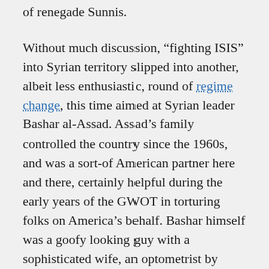of renegade Sunnis.
Without much discussion, “fighting ISIS” into Syrian territory slipped into another, albeit less enthusiastic, round of regime change, this time aimed at Syrian leader Bashar al-Assad. Assad’s family controlled the country since the 1960s, and was a sort-of American partner here and there, certainly helpful during the early years of the GWOT in torturing folks on America’s behalf. Bashar himself was a goofy looking guy with a sophisticated wife, an optometrist by education, and when he took office after his classic dictator Dr. Evil father’s death, was briefly seen as a “new voice” in the Middle East, a less fashionable version of last year’s Saudi Mohammed bin Salman. Assad was fighting Islamic State, too: they were seeking to seize territory from him, and so the US and Assad were sort of on the same side.